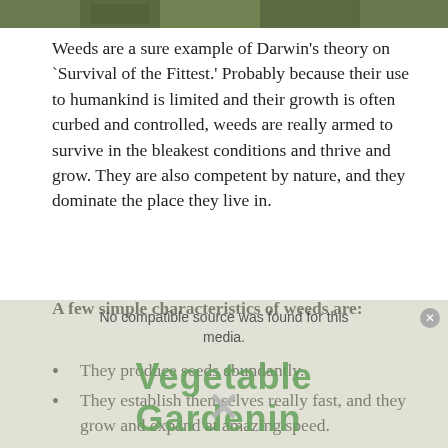[Figure (photo): Top strip showing green plant/weed foliage]
Weeds are a sure example of Darwin's theory on `Survival of the Fittest.' Probably because their use to humankind is limited and their growth is often curbed and controlled, weeds are really armed to survive in the bleakest conditions and thrive and grow. They are also competent by nature, and they dominate the place they live in.
A few simple characteristics of weeds are:
They produce seeds abundantly.
They establish themselves really fast, and they grow and expand at amazing speed.
Their seeds are 'survival' encoded.
They compete and drive out other plants to